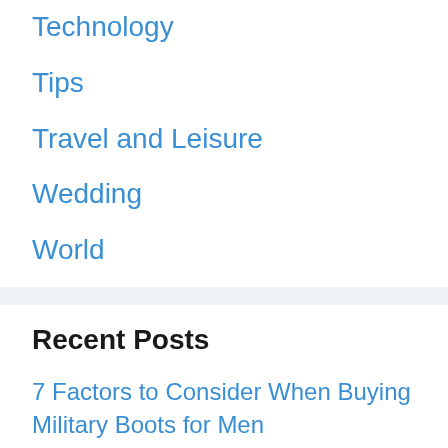Technology
Tips
Travel and Leisure
Wedding
World
Recent Posts
7 Factors to Consider When Buying Military Boots for Men
Plan a Fun Sports Party at Your Home
How to Improve Your Website Speed: 5 Simple Tricks